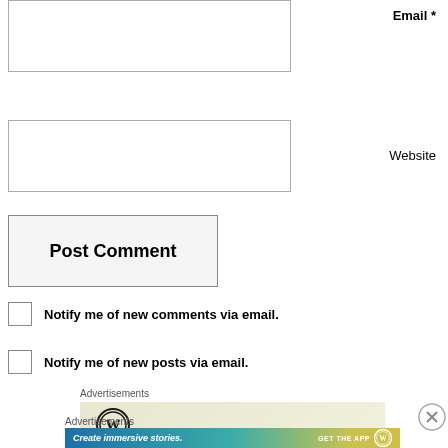Email *
Website
Post Comment
Notify me of new comments via email.
Notify me of new posts via email.
Advertisements
[Figure (logo): WordPress logo on light yellow-green advertisement background]
Advertisements
[Figure (infographic): WordPress advertisement banner: 'Create immersive stories. GET THE APP' with WordPress logo, gradient blue-teal-yellow background]